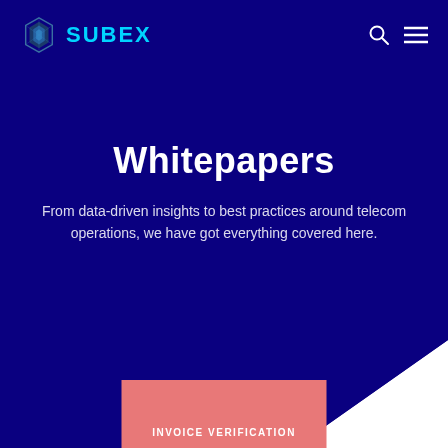[Figure (logo): Subex company logo with hexagonal blue icon and cyan SUBEX text]
Whitepapers
From data-driven insights to best practices around telecom operations, we have got everything covered here.
INVOICE VERIFICATION